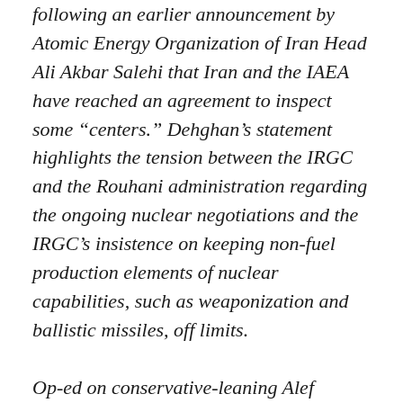following an earlier announcement by Atomic Energy Organization of Iran Head Ali Akbar Salehi that Iran and the IAEA have reached an agreement to inspect some “centers.” Dehghan’s statement highlights the tension between the IRGC and the Rouhani administration regarding the ongoing nuclear negotiations and the IRGC’s insistence on keeping non-fuel production elements of nuclear capabilities, such as weaponization and ballistic missiles, off limits.
Op-ed on conservative-leaning Alef